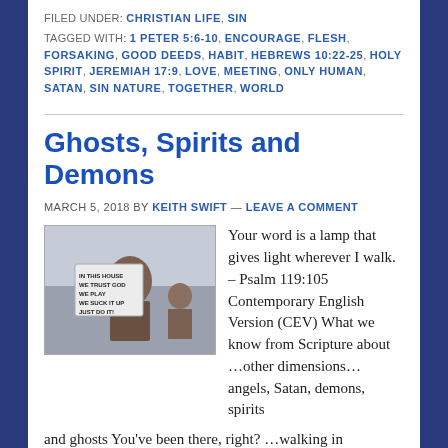FILED UNDER: CHRISTIAN LIFE, SIN
TAGGED WITH: 1 PETER 5:6-10, ENCOURAGE, FLESH, FORSAKING, GOOD DEEDS, HABIT, HEBREWS 10:22-25, HOLY SPIRIT, JEREMIAH 17:9, LOVE, MEETING, ONLY HUMAN, SATAN, SIN NATURE, TOGETHER, WORLD
Ghosts, Spirits and Demons
MARCH 5, 2018 BY KEITH SWIFT — LEAVE A COMMENT
[Figure (photo): Photo of a person holding a sign that reads: IN THIS HOUSE WE TRUST GOD WE PLAY WE SUCK IT UP JUST DO IT!]
Your word is a lamp that gives light wherever I walk. – Psalm 119:105 Contemporary English Version (CEV) What we know from Scripture about …other dimensions… angels, Satan, demons, spirits and ghosts You've been there, right? ...walking in